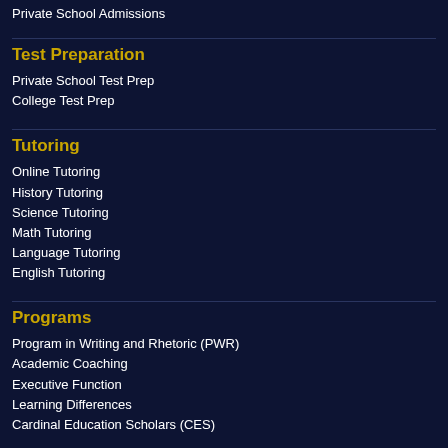Private School Admissions
Test Preparation
Private School Test Prep
College Test Prep
Tutoring
Online Tutoring
History Tutoring
Science Tutoring
Math Tutoring
Language Tutoring
English Tutoring
Programs
Program in Writing and Rhetoric (PWR)
Academic Coaching
Executive Function
Learning Differences
Cardinal Education Scholars (CES)